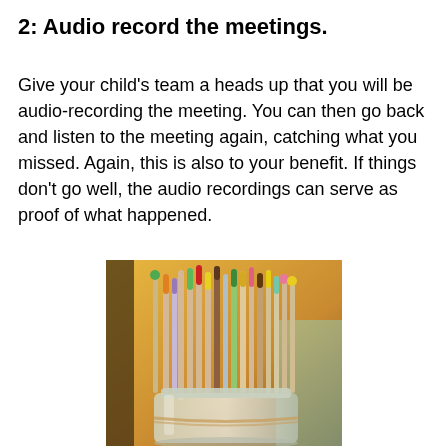2:  Audio record the meetings.
Give your child's team a heads up that you will be audio-recording the meeting. You can then go back and listen to the meeting again, catching what you missed. Again, this is also to your benefit. If things don't go well, the audio recordings can serve as proof of what happened.
[Figure (photo): Photograph of colorful craft sticks/pencils with painted tips in various colors (red, green, yellow, blue, brown, pink, purple) standing upright in a glass jar, with a warm yellow/orange blurred background.]